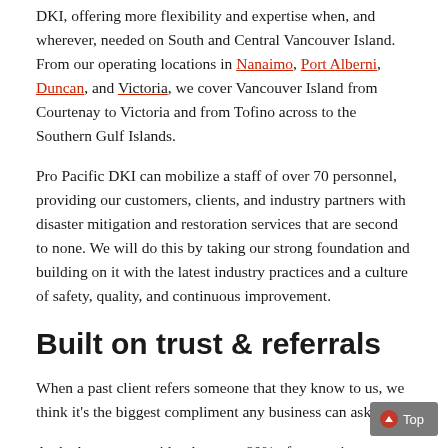DKI, offering more flexibility and expertise when, and wherever, needed on South and Central Vancouver Island. From our operating locations in Nanaimo, Port Alberni, Duncan, and Victoria, we cover Vancouver Island from Courtenay to Victoria and from Tofino across to the Southern Gulf Islands.
Pro Pacific DKI can mobilize a staff of over 70 personnel, providing our customers, clients, and industry partners with disaster mitigation and restoration services that are second to none. We will do this by taking our strong foundation and building on it with the latest industry practices and a culture of safety, quality, and continuous improvement.
Built on trust & referrals
When a past client refers someone that they know to us, we think it's the biggest compliment any business can ask for.
And when you consider that over 90% of our projects come directly out of referrals from past clients, it becomes clear just